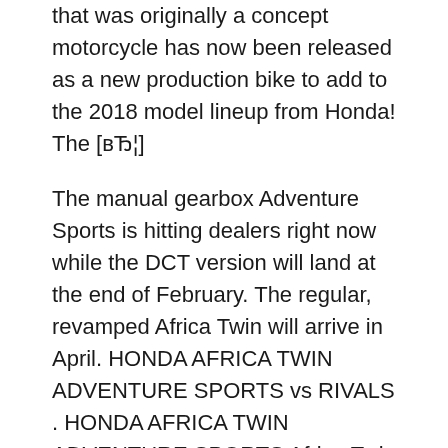that was originally a concept motorcycle has now been released as a new production bike to add to the 2018 model lineup from Honda! The [вЂ¦]
The manual gearbox Adventure Sports is hitting dealers right now while the DCT version will land at the end of February. The regular, revamped Africa Twin will arrive in April. HONDA AFRICA TWIN ADVENTURE SPORTS vs RIVALS . HONDA AFRICA TWIN ADVENTURE SPORTS Africa Twin and X-ADV updated for 2018. The base model Honda Africa Twin also gets Details about 2018 '68' Honda CRF1000A2J CRF1000 CRF 1000 Africa Twin ABS Adventure Sports Haynes Manual 4899 Honda XL125V Varadero & VT125C Shadow